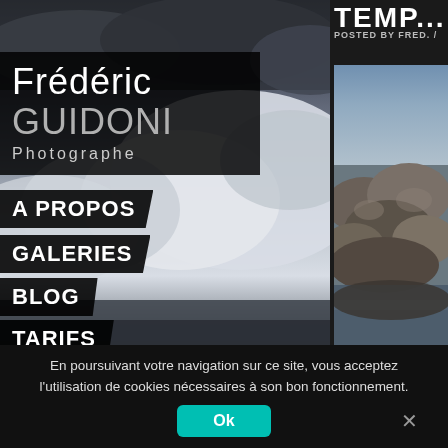[Figure (photo): Photography website screenshot for Frédéric Guidoni Photographe. Left panel shows dramatic cloudy sky photo. Right panel shows rocky coastal seascape. Navigation menu overlaid on left photo: A PROPOS, GALERIES, BLOG, TARIFS. Logo box with 'Frédéric GUIDONI Photographe'. Cookie consent bar at bottom. Partially visible title at top right starting with 'TEMP'.]
POSTED BY FRED. /
En poursuivant votre navigation sur ce site, vous acceptez l'utilisation de cookies nécessaires à son bon fonctionnement.
Ok